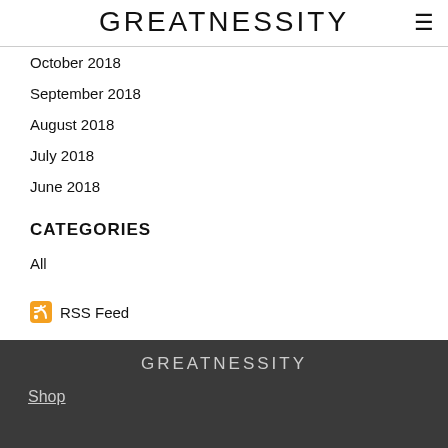GREATNESSITY
October 2018
September 2018
August 2018
July 2018
June 2018
CATEGORIES
All
RSS Feed
GREATNESSITY
Shop